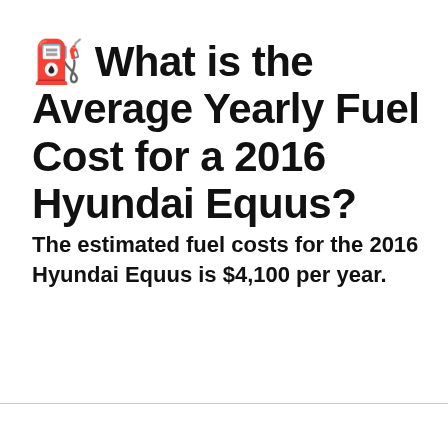⛽ What is the Average Yearly Fuel Cost for a 2016 Hyundai Equus?
The estimated fuel costs for the 2016 Hyundai Equus is $4,100 per year.